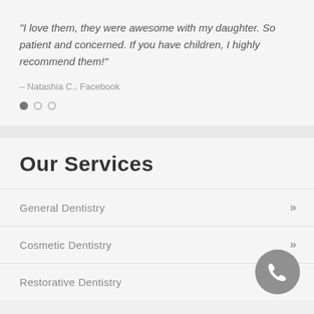"I love them, they were awesome with my daughter. So patient and concerned. If you have children, I highly recommend them!"
– Natashia C., Facebook
[Figure (other): Three pagination dots: one filled gray, two empty circles]
Our Services
General Dentistry
Cosmetic Dentistry
Restorative Dentistry
[Figure (other): Gray circular phone call button with white telephone handset icon, positioned in bottom-right corner]